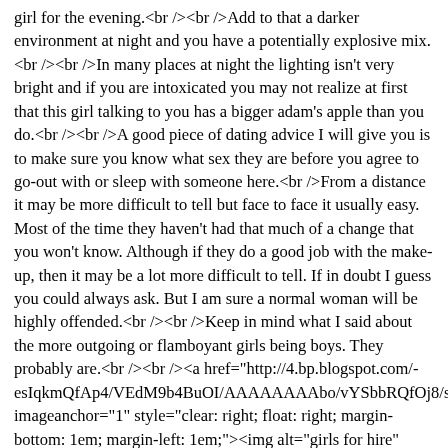girl for the evening.<br /><br />Add to that a darker environment at night and you have a potentially explosive mix.<br /><br />In many places at night the lighting isn't very bright and if you are intoxicated you may not realize at first that this girl talking to you has a bigger adam's apple than you do.<br /><br />A good piece of dating advice I will give you is to make sure you know what sex they are before you agree to go-out with or sleep with someone here.<br />From a distance it may be more difficult to tell but face to face it usually easy. Most of the time they haven't had that much of a change that you won't know. Although if they do a good job with the make-up, then it may be a lot more difficult to tell. If in doubt I guess you could always ask. But I am sure a normal woman will be highly offended.<br /><br />Keep in mind what I said about the more outgoing or flamboyant girls being boys. They probably are.<br /><br /><a href="http://4.bp.blogspot.com/-esIqkmQfAp4/VEdM9b4BuOI/AAAAAAAAbo/vYSbbRQfOj8/s1 imageanchor="1" style="clear: right; float: right; margin-bottom: 1em; margin-left: 1em;"><img alt="girls for hire" border="0" src="http://4.bp.blogspot.com/-esIqkmQfAp4/VEdM9b4BuOI/AAAAAAAAbo/vYSbbRQfOj8/s1 height="195" title="girls for hire" width="320" /></a>Unless you are in one of those areas like Angeles City or something, most girls won't be that publicly <br />obvious. They don't make a show in front of people. If they do she is probably a prostitute or lady-boy. Remember that because a prostitute will want your money and the lady-boy will...